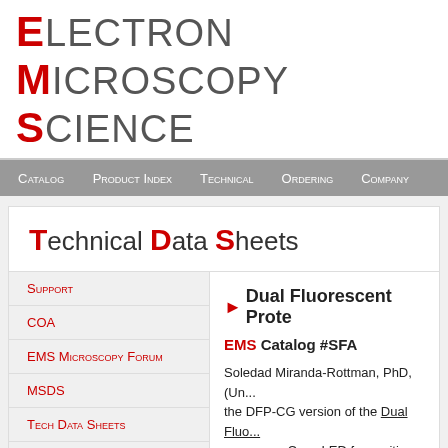Electron Microscopy Sciences
Catalog | Product Index | Technical | Ordering | Company
Technical Data Sheets
Support
COA
EMS Microscopy Forum
MSDS
Tech Data Sheets
Tech Manuals
Protocols & Tips
Videos
Workshops
Dual Fluorescent Prote...
EMS Catalog #SFA
Soledad Miranda-Rottman, PhD, (Un... the DFP-CG version of the Dual Fluo... sources: a Cyan LED for exciting yel... red fluorescence (e.g. RFP, dsRed, e... glasses for each color. Dr. Miranda-R... mouse brains. She writes:
I am very happy with your pro... electroporated brains express...